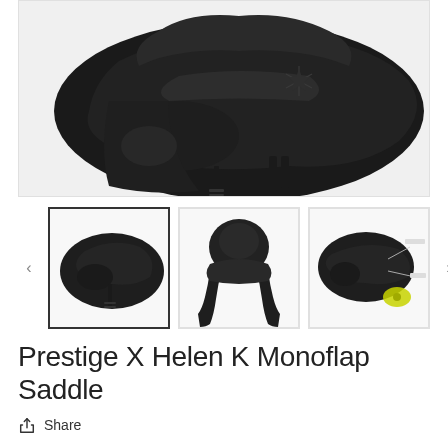[Figure (photo): Close-up photo of a black dressage saddle (Prestige X Helen K Monoflap Saddle) mounted on a saddle rack, showing the seat and flap from an angle. The saddle is black leather with a star logo embossed on it.]
[Figure (photo): Thumbnail 1 (selected/active): Black dressage saddle from front-side angle showing full saddle on stand.]
[Figure (photo): Thumbnail 2: Black dressage saddle from top/back angle, showing girth straps hanging down.]
[Figure (photo): Thumbnail 3: Black dressage saddle from side angle with a diagram overlay showing adjustment mechanism with yellow highlight.]
Prestige X Helen K Monoflap Saddle
Share